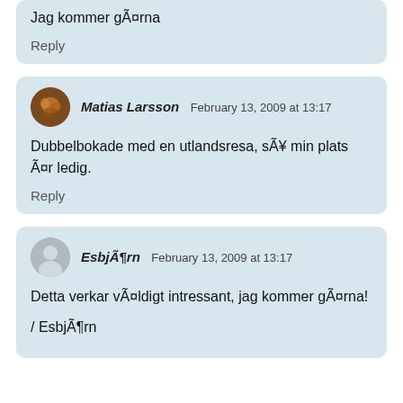Jag kommer gärna
Reply
Matias Larsson February 13, 2009 at 13:17
Dubbelbokade med en utlandsresa, så min plats är ledig.
Reply
Esbjörn February 13, 2009 at 13:17
Detta verkar väldigt intressant, jag kommer gärna!
/ Esbjörn